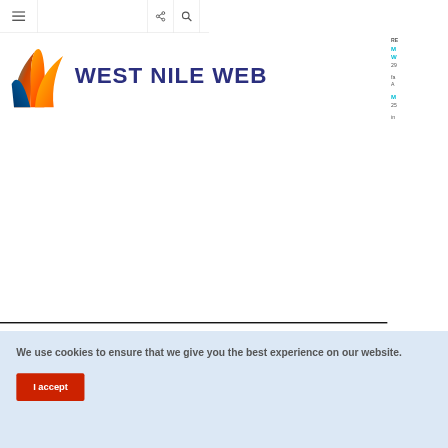West Nile Web - navigation bar with menu, share, and search icons
[Figure (logo): West Nile Web logo: colorful W-shaped icon in orange, red, and blue gradients next to bold dark blue text reading WEST NILE WEB]
We use cookies to ensure that we give you the best experience on our website.
I accept